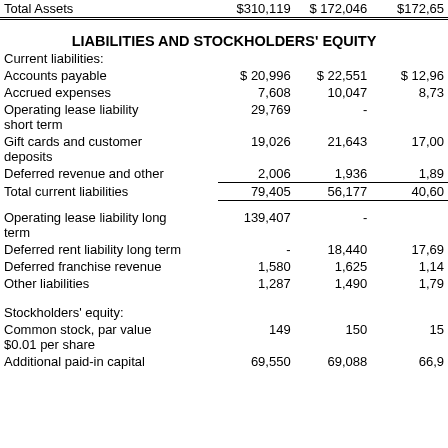|  | Col1 | Col2 | Col3 |
| --- | --- | --- | --- |
| Total Assets | $310,119 | $ 172,046 | $172,65 |
| LIABILITIES AND STOCKHOLDERS' EQUITY |  |  |  |
| Current liabilities: |  |  |  |
| Accounts payable | $ 20,996 | $ 22,551 | $ 12,96 |
| Accrued expenses | 7,608 | 10,047 | 8,73 |
| Operating lease liability short term | 29,769 | - |  |
| Gift cards and customer deposits | 19,026 | 21,643 | 17,00 |
| Deferred revenue and other | 2,006 | 1,936 | 1,89 |
| Total current liabilities | 79,405 | 56,177 | 40,60 |
| Operating lease liability long term | 139,407 | - |  |
| Deferred rent liability long term | - | 18,440 | 17,69 |
| Deferred franchise revenue | 1,580 | 1,625 | 1,14 |
| Other liabilities | 1,287 | 1,490 | 1,79 |
| Stockholders' equity: |  |  |  |
| Common stock, par value $0.01 per share | 149 | 150 | 15 |
| Additional paid-in capital | 69,550 | 69,088 | 66,9 |